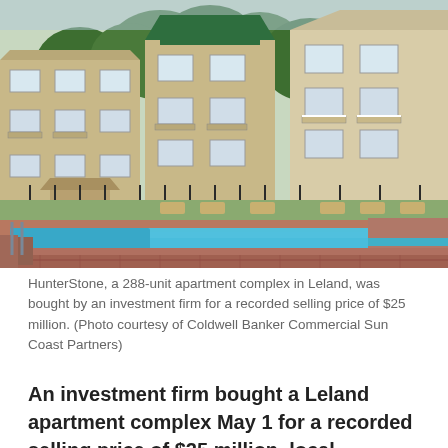[Figure (photo): Photograph of HunterStone apartment complex in Leland showing multi-story beige and green apartment buildings with balconies and a large outdoor swimming pool with brick surroundings, lounge chairs, and trees in the background.]
HunterStone, a 288-unit apartment complex in Leland, was bought by an investment firm for a recorded selling price of $25 million. (Photo courtesy of Coldwell Banker Commercial Sun Coast Partners)
An investment firm bought a Leland apartment complex May 1 for a recorded selling price of $25 million, local commercial brokers announced.